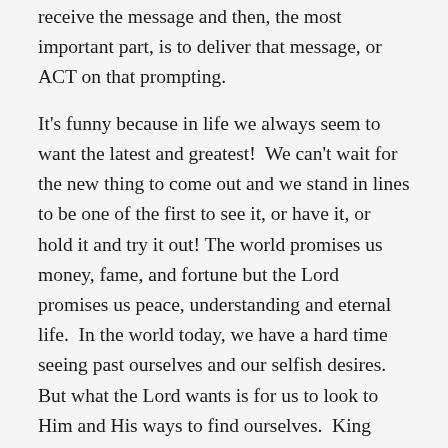receive the message and then, the most important part, is to deliver that message, or ACT on that prompting.
It's funny because in life we always seem to want the latest and greatest!  We can't wait for the new thing to come out and we stand in lines to be one of the first to see it, or have it, or hold it and try it out! The world promises us money, fame, and fortune but the Lord promises us peace, understanding and eternal life.  In the world today, we have a hard time seeing past ourselves and our selfish desires.  But what the Lord wants is for us to look to Him and His ways to find ourselves.  King Benjamin preached in the Book of Mormon: “When ye are in the service of your fellow beings ye are only in the service of your God” (Mosiah 2:17).  And in the New Testament the Savior taught His disciples, “For whosoever will save his life shall lose it: but whosoever will lose his life for my sake, the same